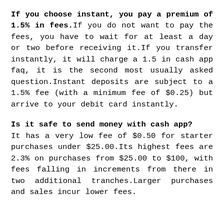If you choose instant, you pay a premium of 1.5% in fees. If you do not want to pay the fees, you have to wait for at least a day or two before receiving it. If you transfer instantly, it will charge a 1.5 in cash app faq, it is the second most usually asked question. Instant deposits are subject to a 1.5% fee (with a minimum fee of $0.25) but arrive to your debit card instantly.
Is it safe to send money with cash app? It has a very low fee of $0.50 for starter purchases under $25.00. Its highest fees are 2.3% on purchases from $25.00 to $100, with fees falling in increments from there in two additional tranches. Larger purchases and sales incur lower fees.